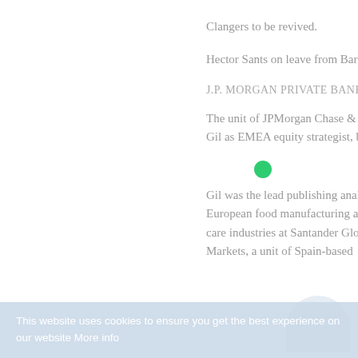Clangers to be revived.
Hector Sants on leave from Barclays
J.P. MORGAN PRIVATE BANK
The unit of JPMorgan Chase & Co appointed Pedro Gil as EMEA equity strategist, based in London.
Gil was the lead publishing analyst covering the European food manufacturing and home personal care industries at Santander Global Banking & Markets, a unit of Spain-based
This website uses cookies to ensure you get the best experience on our website More info